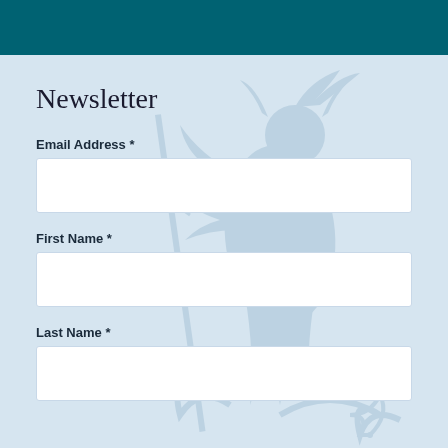Newsletter
Email Address *
First Name *
Last Name *